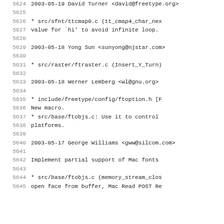5624  2003-05-19  David Turner  <david@freetype.org>
5625
5626          * src/sfnt/ttcmap0.c (tt_cmap4_char_nex
5627          value for `hi' to avoid infinite loop.
5628
5629  2003-05-18  Yong Sun  <sunyong@njstar.com>
5630
5631          * src/raster/ftraster.c (Insert_Y_Turn)
5632
5633  2003-05-18  Werner Lemberg  <wl@gnu.org>
5634
5635          * include/freetype/config/ftoption.h [F
5636          New macro.
5637          * src/base/ftobjs.c: Use it to control
5638          platforms.
5639
5640  2003-05-17  George Williams  <gww@silcom.com>
5641
5642          Implement partial support of Mac fonts
5643
5644          * src/base/ftobjs.c (memory_stream_clos
5645          open face from buffer, Mac Read POST Re